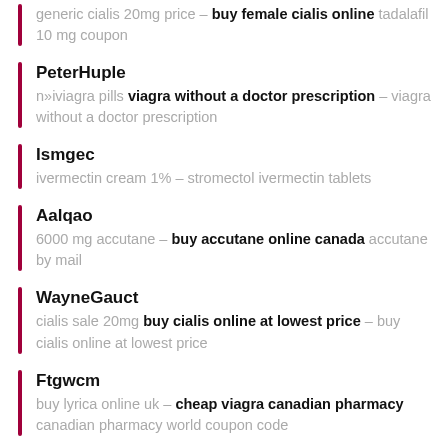generic cialis 20mg price – buy female cialis online tadalafil 10 mg coupon
PeterHuple
n»iviagra pills viagra without a doctor prescription – viagra without a doctor prescription
Ismgec
ivermectin cream 1% – stromectol ivermectin tablets
Aalqao
6000 mg accutane – buy accutane online canada accutane by mail
WayneGauct
cialis sale 20mg buy cialis online at lowest price – buy cialis online at lowest price
Ftgwcm
buy lyrica online uk – cheap viagra canadian pharmacy canadian pharmacy world coupon code